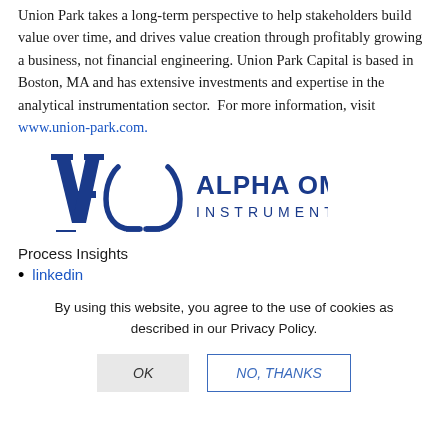Union Park takes a long-term perspective to help stakeholders build value over time, and drives value creation through profitably growing a business, not financial engineering. Union Park Capital is based in Boston, MA and has extensive investments and expertise in the analytical instrumentation sector.  For more information, visit www.union-park.com.
[Figure (logo): Alpha Omega Instruments logo with stylized AO letters and company name]
Process Insights
linkedin
By using this website, you agree to the use of cookies as described in our Privacy Policy.
OK   NO, THANKS